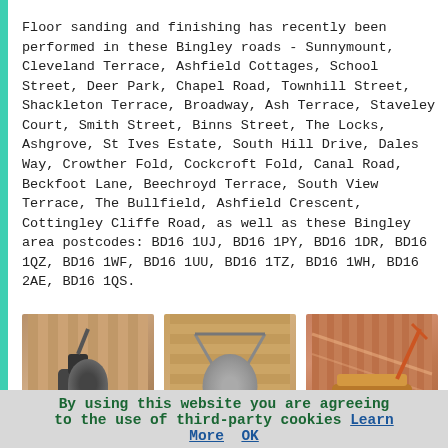Floor sanding and finishing has recently been performed in these Bingley roads - Sunnymount, Cleveland Terrace, Ashfield Cottages, School Street, Deer Park, Chapel Road, Townhill Street, Shackleton Terrace, Broadway, Ash Terrace, Staveley Court, Smith Street, Binns Street, The Locks, Ashgrove, St Ives Estate, South Hill Drive, Dales Way, Crowther Fold, Cockcroft Fold, Canal Road, Beckfoot Lane, Beechroyd Terrace, South View Terrace, The Bullfield, Ashfield Crescent, Cottingley Cliffe Road, as well as these Bingley area postcodes: BD16 1UJ, BD16 1PY, BD16 1DR, BD16 1QZ, BD16 1WF, BD16 1UU, BD16 1TZ, BD16 1WH, BD16 2AE, BD16 1QS.
[Figure (photo): Floor sanding machine on a parquet/hardwood floor]
Floor Sanding Bingley
[Figure (photo): Floor polishing machine on a wooden floor]
Floor Polishing Bingley
[Figure (photo): Floor finishing roller/applicator on a shiny hardwood floor]
Floor Finishing Bingley
To read local Bingley information take a look here
By using this website you are agreeing to the use of third-party cookies Learn More  OK